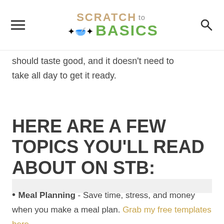SCRATCH TO BASICS
should taste good, and it doesn't need to take all day to get it ready.
HERE ARE A FEW TOPICS YOU'LL READ ABOUT ON STB:
Meal Planning - Save time, stress, and money when you make a meal plan. Grab my free templates here.